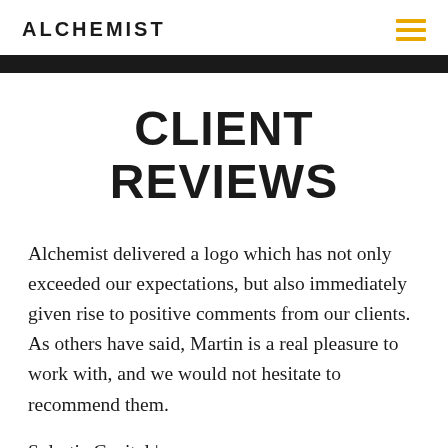ALCHEMIST
CLIENT REVIEWS
Alchemist delivered a logo which has not only exceeded our expectations, but also immediately given rise to positive comments from our clients. As others have said, Martin is a real pleasure to work with, and we would not hesitate to recommend them.
Solertia Capital |